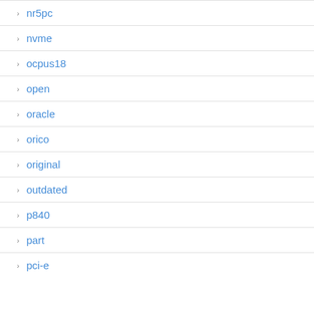nr5pc
nvme
ocpus18
open
oracle
orico
original
outdated
p840
part
pci-e